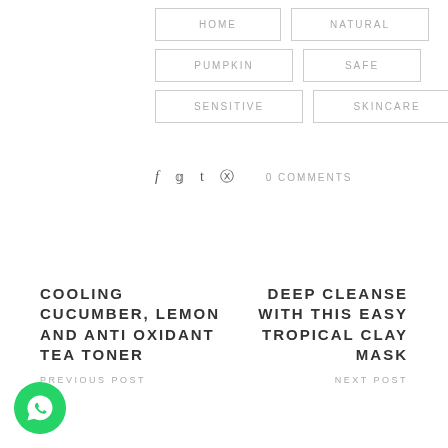HOME
NATURAL
PUMPKIN
SAFE
SENSITIVE
SKINCARE
0 COMMENTS
COOLING CUCUMBER, LEMON AND ANTI OXIDANT TEA TONER
PREVIOUS POST
DEEP CLEANSE WITH THIS EASY TROPICAL CLAY MASK
NEXT POST